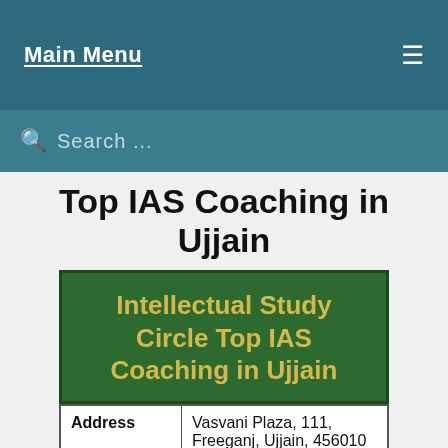Main Menu
Search ...
Top IAS Coaching in Ujjain
[Figure (infographic): Green card with bold yellow text reading: Intellectual Study Circle Top IAS Coaching in Ujjain]
| Address | Vasvani Plaza, 111, Freeganj, Ujjain, 456010 |
| --- | --- |